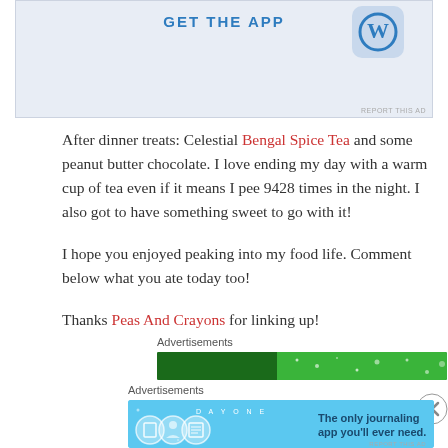[Figure (screenshot): Top advertisement banner with 'GET THE APP' text and WordPress logo on blue-grey background]
After dinner treats: Celestial Bengal Spice Tea and some peanut butter chocolate. I love ending my day with a warm cup of tea even if it means I pee 9428 times in the night. I also got to have something sweet to go with it!
I hope you enjoyed peaking into my food life. Comment below what you ate today too!
Thanks Peas And Crayons for linking up!
Advertisements
[Figure (screenshot): Green advertisement banner]
Advertisements
[Figure (screenshot): Day One journaling app advertisement on light blue background with icons and text 'The only journaling app you'll ever need.']